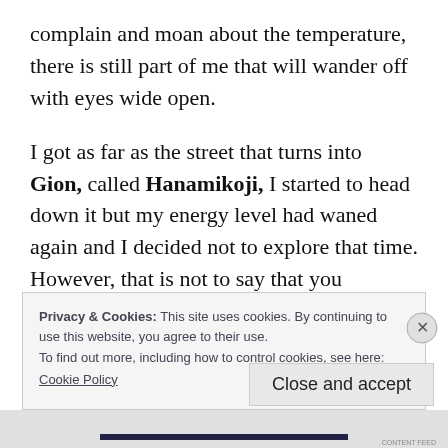complain and moan about the temperature, there is still part of me that will wander off with eyes wide open.
I got as far as the street that turns into Gion, called Hanamikoji, I started to head down it but my energy level had waned again and I decided not to explore that time. However, that is not to say that you shouldn't go and see
Privacy & Cookies: This site uses cookies. By continuing to use this website, you agree to their use.
To find out more, including how to control cookies, see here: Cookie Policy
Close and accept